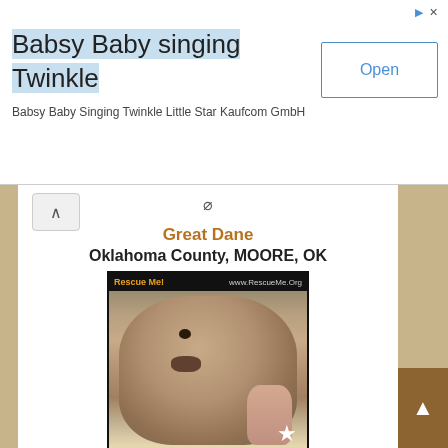[Figure (screenshot): Advertisement banner: 'Babsy Baby singing Twinkle' with Open button]
Babsy Baby singing Twinkle
Babsy Baby Singing Twinkle Little Star Kaufcom GmbH
Great Dane
Oklahoma County, MOORE, OK
[Figure (photo): Photo of a Great Dane puppy being held, with Rescue Me! watermark and ID: Rescue Me ID A22.08.16.00175]
Hello! I am Revolution! me and my litter were rescued from a domestic violence situation where the rescue took us...
» Read more »